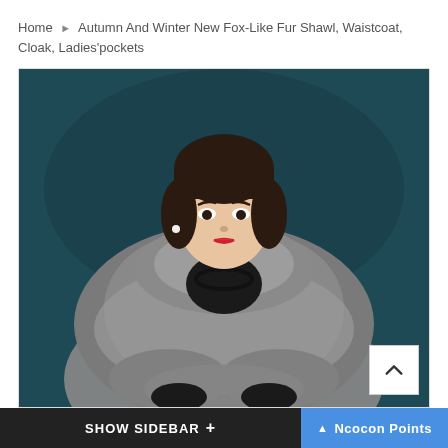Home ▶ Autumn And Winter New Fox-Like Fur Shawl, Waistcoat, Cloak, Ladies'pockets
[Figure (photo): A woman wearing a large grey fox-like fur shawl/cloak over a dark outfit, posed against a dark teal background. She has short dark hair and red lipstick.]
SHOW SIDEBAR +   ▲ Ncocon Points